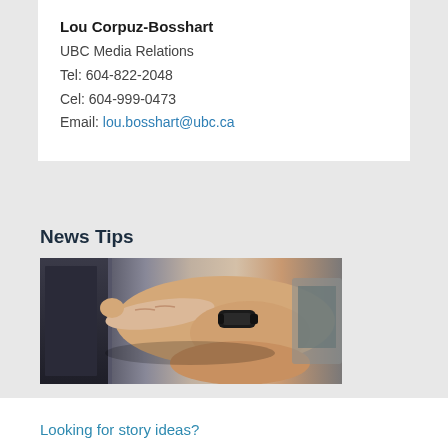Lou Corpuz-Bosshart
UBC Media Relations
Tel: 604-822-2048
Cel: 604-999-0473
Email: lou.bosshart@ubc.ca
News Tips
[Figure (photo): Photo of a hand/wrist with a black fitness band pointing at a screen or device]
Looking for story ideas?
Check out our latest News Tips!